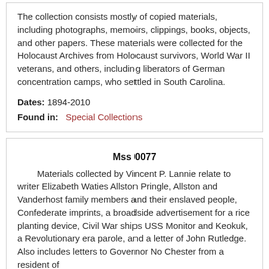The collection consists mostly of copied materials, including photographs, memoirs, clippings, books, objects, and other papers. These materials were collected for the Holocaust Archives from Holocaust survivors, World War II veterans, and others, including liberators of German concentration camps, who settled in South Carolina.
Dates: 1894-2010
Found in: Special Collections
Mss 0077
Materials collected by Vincent P. Lannie relate to writer Elizabeth Waties Allston Pringle, Allston and Vanderhost family members and their enslaved people, Confederate imprints, a broadside advertisement for a rice planting device, Civil War ships USS Monitor and Keokuk, a Revolutionary era parole, and a letter of John Rutledge. Also includes letters to Governor No Chester from a resident of...